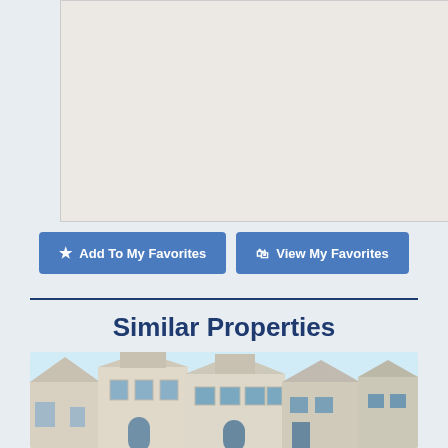[Figure (map): Map placeholder with light beige/tan background, showing a map area]
Add To My Favorites
View My Favorites
Similar Properties
[Figure (photo): Photo of beachfront/coastal houses with white/cream facades, multiple stories, blue sky background]